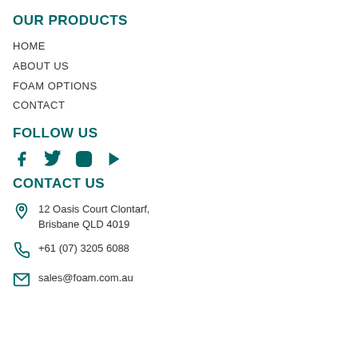OUR PRODUCTS
HOME
ABOUT US
FOAM OPTIONS
CONTACT
FOLLOW US
[Figure (infographic): Social media icons: Facebook, Twitter, Instagram, YouTube]
CONTACT US
12 Oasis Court Clontarf, Brisbane QLD 4019
+61 (07) 3205 6088
sales@foam.com.au